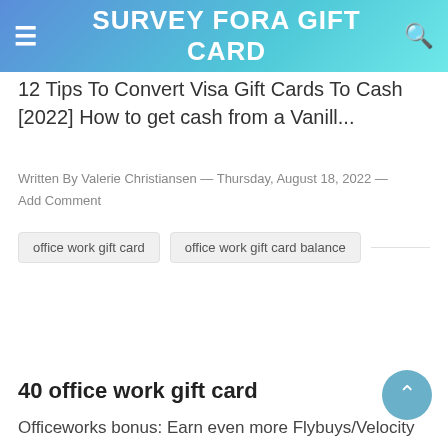SURVEY FORA GIFT CARD
12 Tips To Convert Visa Gift Cards To Cash [2022] How to get cash from a Vanill...
Written By Valerie Christiansen — Thursday, August 18, 2022 — Add Comment
office work gift card
office work gift card balance
40 office work gift card
Officeworks bonus: Earn even more Flybuys/Velocity